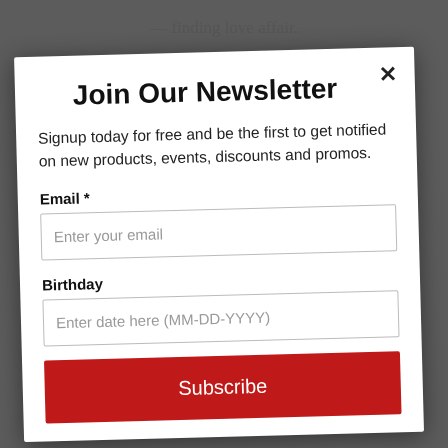finding love affair.
Join Our Newsletter
Signup today for free and be the first to get notified on new products, events, discounts and promos.
Email *
Enter your email
Birthday
Enter date here (MM-DD-YYYY)
Subscribe